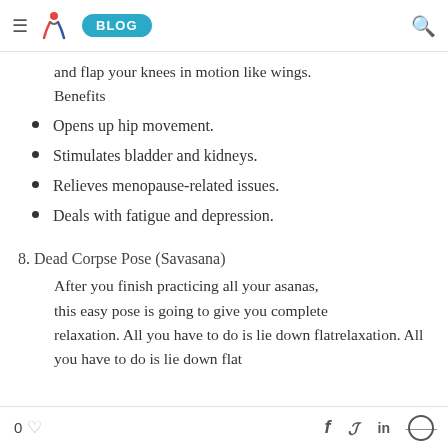≡ STI BLOG 🔍
and flap your knees in motion like wings.
Benefits
Opens up hip movement.
Stimulates bladder and kidneys.
Relieves menopause-related issues.
Deals with fatigue and depression.
8. Dead Corpse Pose (Savasana)
After you finish practicing all your asanas, this easy pose is going to give you complete relaxation. All you have to do is lie down flat
0 ♡  f  𝕏  in  ⊕